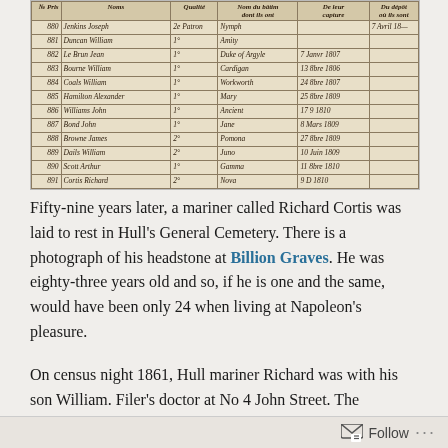[Figure (other): Scanned handwritten muster/register page showing entries numbered 880-891 with columns for number, name, rank/rating, ship, date, and other details. Copyright The National Archives, London.]
Fifty-nine years later, a mariner called Richard Cortis was laid to rest in Hull's General Cemetery. There is a photograph of his headstone at Billion Graves. He was eighty-three years old and so, if he is one and the same, would have been only 24 when living at Napoleon's pleasure.
On census night 1861, Hull mariner Richard was with his son William. Filer's doctor at No 4 John Street. The household
Follow